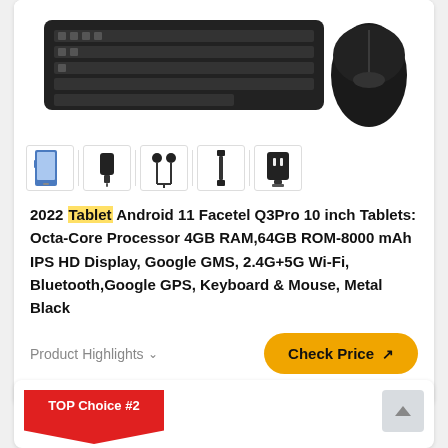[Figure (photo): Tablet with Bluetooth keyboard and wireless mouse product image, shown from above. Multiple product thumbnails shown below: tablet, adapter, earphones, cable, charger.]
2022 Tablet Android 11 Facetel Q3Pro 10 inch Tablets: Octa-Core Processor 4GB RAM,64GB ROM-8000 mAh IPS HD Display, Google GMS, 2.4G+5G Wi-Fi, Bluetooth,Google GPS, Keyboard & Mouse, Metal Black
Product Highlights ∨
Check Price ↗
TOP Choice #2